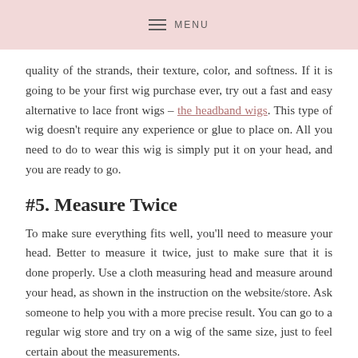MENU
quality of the strands, their texture, color, and softness. If it is going to be your first wig purchase ever, try out a fast and easy alternative to lace front wigs – the headband wigs. This type of wig doesn't require any experience or glue to place on. All you need to do to wear this wig is simply put it on your head, and you are ready to go.
#5. Measure Twice
To make sure everything fits well, you'll need to measure your head. Better to measure it twice, just to make sure that it is done properly. Use a cloth measuring head and measure around your head, as shown in the instruction on the website/store. Ask someone to help you with a more precise result. You can go to a regular wig store and try on a wig of the same size, just to feel certain about the measurements.